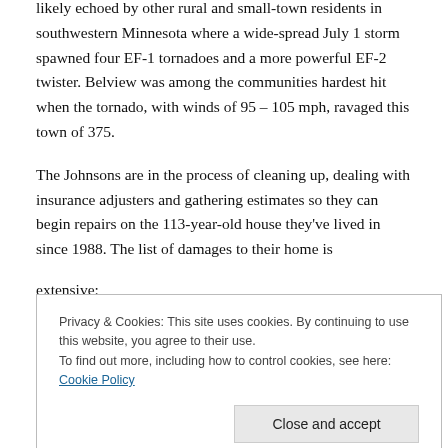likely echoed by other rural and small-town residents in southwestern Minnesota where a wide-spread July 1 storm spawned four EF-1 tornadoes and a more powerful EF-2 twister. Belview was among the communities hardest hit when the tornado, with winds of 95 – 105 mph, ravaged this town of 375.
The Johnsons are in the process of cleaning up, dealing with insurance adjusters and gathering estimates so they can begin repairs on the 113-year-old house they've lived in since 1988. The list of damages to their home is extensive:
Privacy & Cookies: This site uses cookies. By continuing to use this website, you agree to their use.
To find out more, including how to control cookies, see here: Cookie Policy